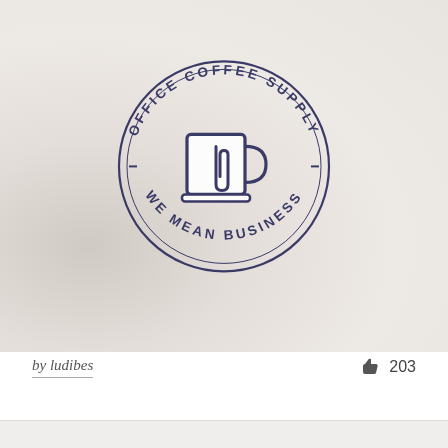[Figure (logo): Office Coffee Supply logo — circular badge with text 'OFFICE COFFEE SUPPLY' along the top arc and 'WE MEAN BUSINESS' along the bottom arc. Center icon shows a coffee mug with a paperclip design inside. Logo is dark navy/purple on a light beige coffee-texture background.]
by ludibes
203